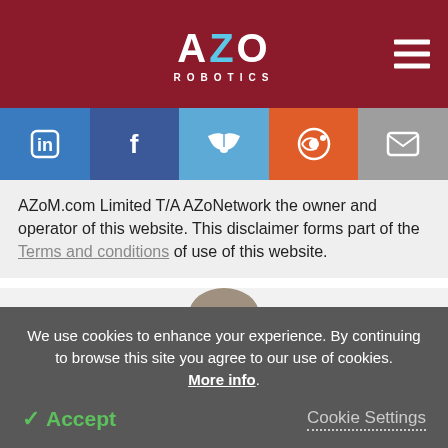AZO ROBOTICS
[Figure (infographic): Social sharing buttons: LinkedIn (blue), Facebook (dark blue), Twitter (light blue), Reddit (orange), Email (grey)]
AZoM.com Limited T/A AZoNetwork the owner and operator of this website. This disclaimer forms part of the Terms and conditions of use of this website.
[Figure (photo): Partial view of an author's profile photo circle, cropped at bottom of visible area]
We use cookies to enhance your experience. By continuing to browse this site you agree to our use of cookies. More info.
✓ Accept   Cookie Settings